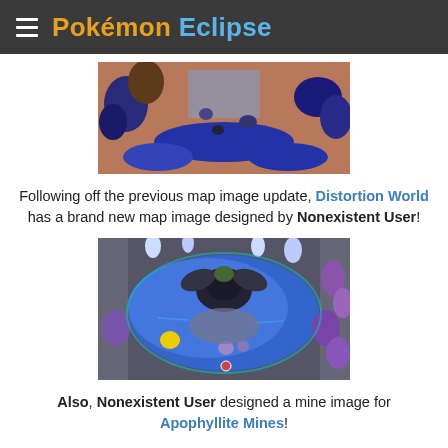Pokémon Eclipse
[Figure (screenshot): Top-down RPG cave/dungeon map screenshot showing rocky terrain with blue crystal formations and brownish-red floor tiles, from a Pokemon fan game]
Following off the previous map image update, Distortion World has a brand new map image designed by Nonexistent User!
[Figure (screenshot): Top-down RPG map screenshot of Distortion World showing a large dark Pokemon (appears to be Giratina) on a blue water/crystal terrain with purple gem formations and rocky cave walls, from a Pokemon fan game]
Also, Nonexistent User designed a mine image for Apophyllite Mines!